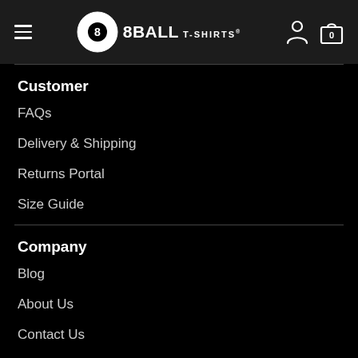8BALL T-SHIRTS
Customer
FAQs
Delivery & Shipping
Returns Portal
Size Guide
Company
Blog
About Us
Contact Us
Legal Stuff